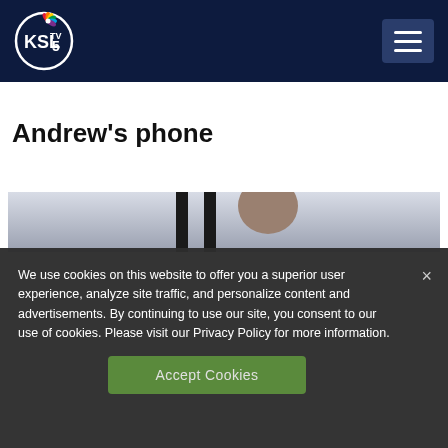[Figure (logo): KSL TV 5 NBC logo on dark navy header bar with hamburger menu button]
Andrew's phone
[Figure (photo): Partial photo of a person's head in an indoor setting with vertical dark bars in background]
We use cookies on this website to offer you a superior user experience, analyze site traffic, and personalize content and advertisements. By continuing to use our site, you consent to our use of cookies. Please visit our Privacy Policy for more information.
Accept Cookies